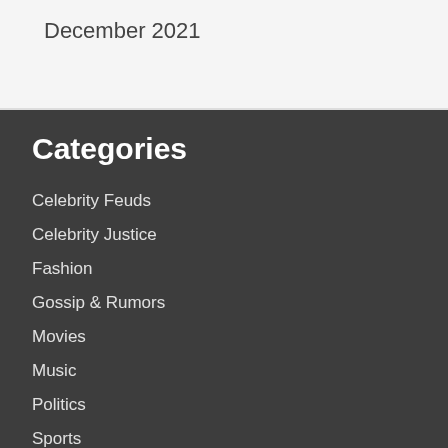December 2021
Categories
Celebrity Feuds
Celebrity Justice
Fashion
Gossip & Rumors
Movies
Music
Politics
Sports